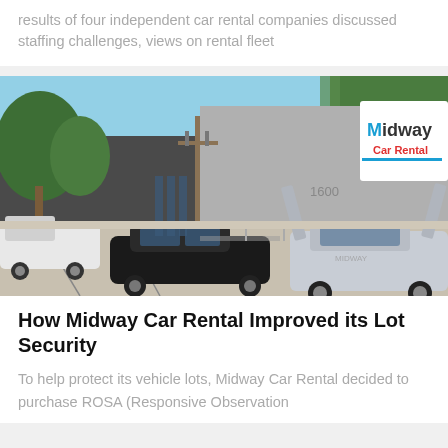results of four independent car rental companies discussed staffing challenges, views on rental fleet
[Figure (photo): Exterior photo of Midway Car Rental location showing storefront with Midway Car Rental sign, several luxury and sports cars parked in front including a Lamborghini with scissor doors open, on a sunny day]
How Midway Car Rental Improved its Lot Security
To help protect its vehicle lots, Midway Car Rental decided to purchase ROSA (Responsive Observation